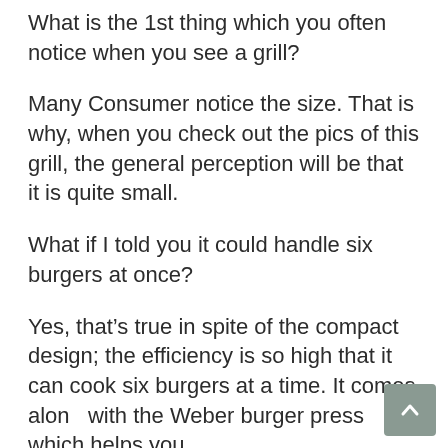What is the 1st thing which you often notice when you see a grill?
Many Consumer notice the size. That is why, when you check out the pics of this grill, the general perception will be that it is quite small.
What if I told you it could handle six burgers at once?
Yes, that’s true in spite of the compact design; the efficiency is so high that it can cook six burgers at a time. It comes along with the Weber burger press which helps you